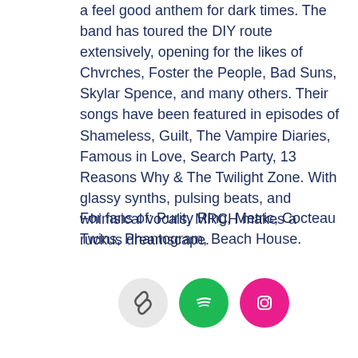a feel good anthem for dark times. The band has toured the DIY route extensively, opening for the likes of Chvrches, Foster the People, Bad Suns, Skylar Spence, and many others. Their songs have been featured in episodes of Shameless, Guilt, The Vampire Diaries, Famous in Love, Search Party, 13 Reasons Why & The Twilight Zone. With glassy synths, pulsing beats, and whimsical vocals, MRCH makes a ruckus dreamscape.
For fans of: Purity Ring, Metric, Cocteau Twins, Phantogram, Beach House.
[Figure (infographic): Three social media icon circles: a link/chain icon on grey background, Spotify logo on green background, Instagram logo on pink/magenta background]